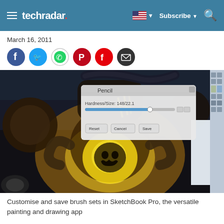techradar. Subscribe
March 16, 2011
[Figure (screenshot): SketchBook Pro application screenshot showing a digital painting of a glowing yellow robot/character with a skull emblem, with a Pencil brush settings dialog open in the upper left showing Hardness/Size: 148/22.1]
Customise and save brush sets in SketchBook Pro, the versatile painting and drawing app